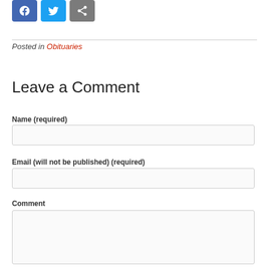[Figure (other): Social sharing icons: Facebook (blue), Twitter (blue), Share/Add (grey)]
Posted in Obituaries
Leave a Comment
Name (required)
Email (will not be published) (required)
Comment